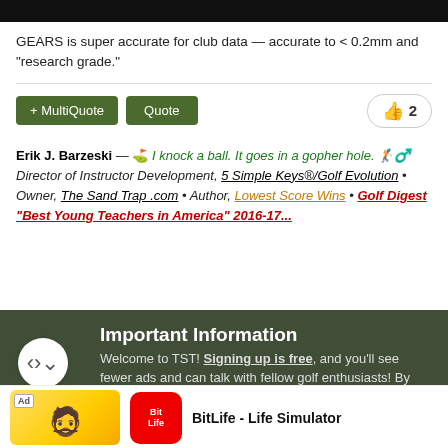[Figure (screenshot): Black top bar from a web forum page]
GEARS is super accurate for club data — accurate to < 0.2mm and "research grade."
+ MultiQuote  Quote  👍 2
Erik J. Barzeski — ⛳ I knock a ball. It goes in a gopher hole. 🏌️ Director of Instructor Development, 5 Simple Keys®/Golf Evolution • Owner, The Sand Trap .com • Author, Lowest Score Wins • Golf Digest "Best Young Teachers in America" 2016-17...
Important Information
Welcome to TST! Signing up is free, and you'll see fewer ads and can talk with fellow golf enthusiasts! By
[Figure (screenshot): Ad banner for BitLife - Life Simulator with install button]